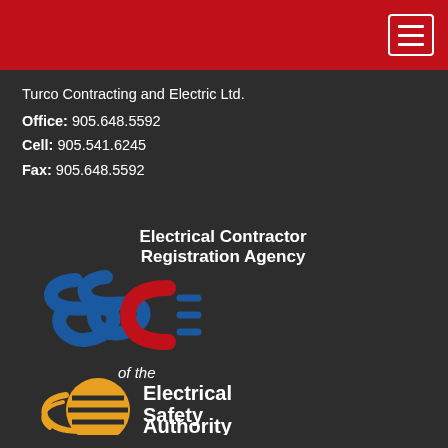Turco Contracting and Electric Ltd.
Office: 905.648.5592
Cell: 905.541.6245
Fax: 905.648.5592
[Figure (logo): Electrical Contractor Registration Agency (ECRA) logo of the Electrical Safety Authority (ESA) — blue stylized 'EC' letters with red plug symbol and orange ESA globe logo]